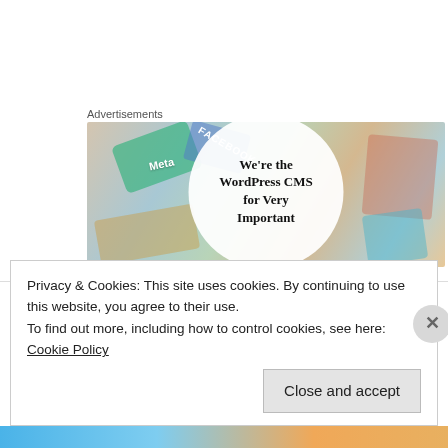Advertisements
[Figure (illustration): Advertisement banner for WordPress CMS with text 'We're the WordPress CMS for Very Important' overlaid on colorful cards/logos including Meta and Facebook labels.]
Rebecca @ The Book Lady's Blog on November 7, 2009 at 5:35 am
Privacy & Cookies: This site uses cookies. By continuing to use this website, you agree to their use.
To find out more, including how to control cookies, see here: Cookie Policy
Close and accept